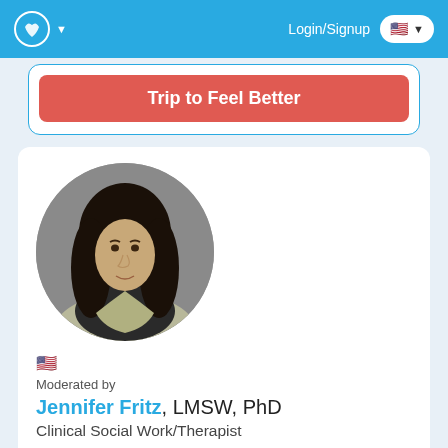Login/Signup
Trip to Feel Better
[Figure (photo): Circular profile photo of Jennifer Fritz, a woman with long dark curly hair, wearing a light jacket, against a grey background]
🇺🇸
Moderated by
Jennifer Fritz, LMSW, PhD
Clinical Social Work/Therapist
Day to day life can be stressful and overwhelming and my strength is assisting my clients in a